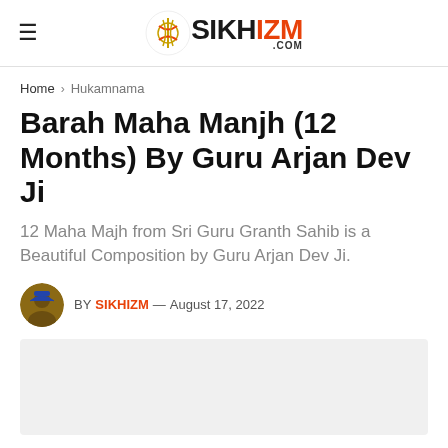SIKHIZM.COM
Home › Hukamnama
Barah Maha Manjh (12 Months) By Guru Arjan Dev Ji
12 Maha Majh from Sri Guru Granth Sahib is a Beautiful Composition by Guru Arjan Dev Ji.
BY SIKHIZM — August 17, 2022
[Figure (photo): Light gray placeholder image area]